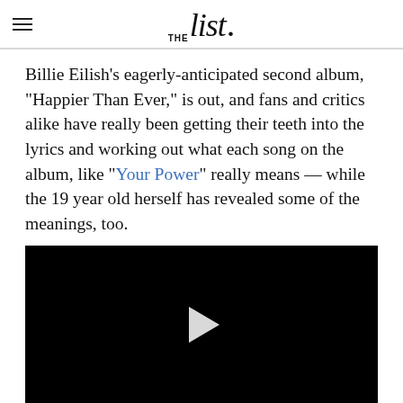THE list
Billie Eilish's eagerly-anticipated second album, "Happier Than Ever," is out, and fans and critics alike have really been getting their teeth into the lyrics and working out what each song on the album, like "Your Power" really means — while the 19 year old herself has revealed some of the meanings, too.
[Figure (screenshot): Black video player with a white play button triangle in the center]